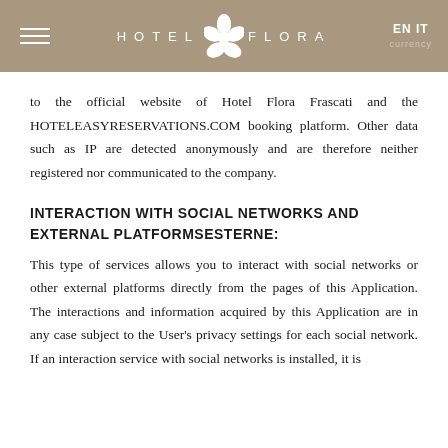HOTEL FLORA | EN IT
to the official website of Hotel Flora Frascati and the HOTELEASYRESERVATIONS.COM booking platform. Other data such as IP are detected anonymously and are therefore neither registered nor communicated to the company.
INTERACTION WITH SOCIAL NETWORKS AND EXTERNAL PLATFORMSESTERNE:
This type of services allows you to interact with social networks or other external platforms directly from the pages of this Application. The interactions and information acquired by this Application are in any case subject to the User's privacy settings for each social network. If an interaction service with social networks is installed, it is